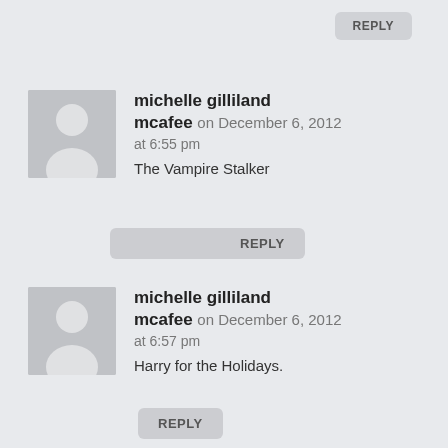REPLY
michelle gilliland mcafee on December 6, 2012 at 6:55 pm
The Vampire Stalker
REPLY
michelle gilliland mcafee on December 6, 2012 at 6:57 pm
Harry for the Holidays.
REPLY